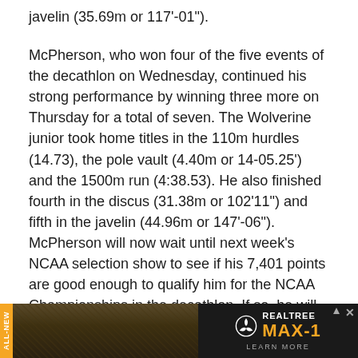javelin (35.69m or 117'-01").
McPherson, who won four of the five events of the decathlon on Wednesday, continued his strong performance by winning three more on Thursday for a total of seven. The Wolverine junior took home titles in the 110m hurdles (14.73), the pole vault (4.40m or 14-05.25') and the 1500m run (4:38.53). He also finished fourth in the discus (31.38m or 102'11") and fifth in the javelin (44.96m or 147'-06"). McPherson will now wait until next week's NCAA selection show to see if his 7,401 points are good enough to qualify him for the NCAA Championships in the decathlon. If so, he will become UVU's first-ever track athlete to compete at the NCAA Championships.
Lynch who was even with a couple of competitors entering the final lap of the men's 10,000m, turned on the jets down the
[Figure (other): Advertisement banner for Realtree MAX-1 camouflage. Dark background with grass/camouflage texture on the left, Realtree logo and MAX-1 text on the right. Orange 'ALL-NEW' vertical label on far left.]